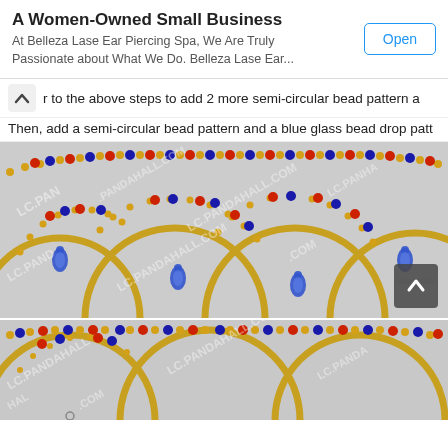A Women-Owned Small Business
At Belleza Lase Ear Piercing Spa, We Are Truly Passionate about What We Do. Belleza Lase Ear...
r to the above steps to add 2 more semi-circular bead pattern a
Then, add a semi-circular bead pattern and a blue glass bead drop patt
[Figure (photo): Beaded necklace with gold semi-circular rings and blue/red/gold beads with blue teardrop pendants. Watermark LC.PANDAHALL.COM visible.]
[Figure (photo): Partial view of beaded necklace at bottom, same style as above with gold rings, blue and red beads.]